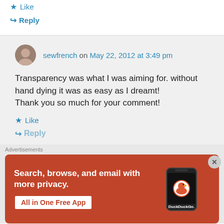★ Like
↪ Reply
sewfrench on May 22, 2012 at 3:49 pm
Transparency was what I was aiming for. without hand dying it was as easy as I dreamt!
Thank you so much for your comment!
★ Like
↪ Reply
Advertisements
[Figure (infographic): DuckDuckGo advertisement banner with orange background showing 'Search, browse, and email with more privacy. All in One Free App' with DuckDuckGo logo and phone image]